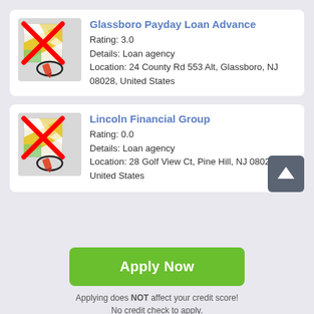Glassboro Payday Loan Advance
Rating: 3.0
Details: Loan agency
Location: 24 County Rd 553 Alt, Glassboro, NJ 08028, United States
Lincoln Financial Group
Rating: 0.0
Details: Loan agency
Location: 28 Golf View Ct, Pine Hill, NJ 08021, United States
Apply Now
Applying does NOT affect your credit score!
No credit check to apply.